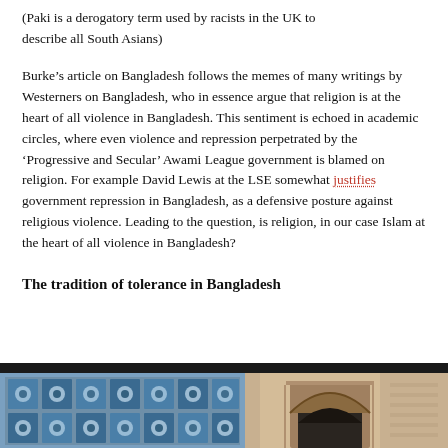(Paki is a derogatory term used by racists in the UK to describe all South Asians)
Burke’s article on Bangladesh follows the memes of many writings by Westerners on Bangladesh, who in essence argue that religion is at the heart of all violence in Bangladesh. This sentiment is echoed in academic circles, where even violence and repression perpetrated by the ‘Progressive and Secular’ Awami League government is blamed on religion. For example David Lewis at the LSE somewhat justifies government repression in Bangladesh, as a defensive posture against religious violence. Leading to the question, is religion, in our case Islam at the heart of all violence in Bangladesh?
The tradition of tolerance in Bangladesh
[Figure (photo): Photograph showing decorative blue and white tiled wall patterns on the left and an arched architectural element on the right, partially cut off at the bottom of the page]